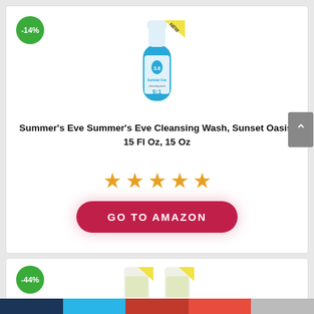[Figure (photo): Product photo of Summer's Eve Cleansing Wash bottle with -14% badge and NEW label]
Summer’s Eve Summer’s Eve Cleansing Wash, Sunset Oasis, 15 Fl Oz, 15 Oz
[Figure (other): 5 orange star rating]
[Figure (other): GO TO AMAZON red pill button]
[Figure (photo): Partial product image of second item with -44% badge at bottom of page]